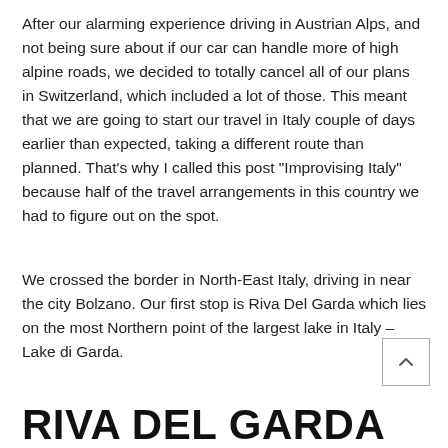After our alarming experience driving in Austrian Alps, and not being sure about if our car can handle more of high alpine roads, we decided to totally cancel all of our plans in Switzerland, which included a lot of those. This meant that we are going to start our travel in Italy couple of days earlier than expected, taking a different route than planned. That's why I called this post "Improvising Italy" because half of the travel arrangements in this country we had to figure out on the spot.
We crossed the border in North-East Italy, driving in near the city Bolzano. Our first stop is Riva Del Garda which lies on the most Northern point of the largest lake in Italy – Lake di Garda.
RIVA DEL GARDA